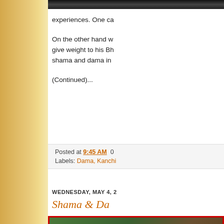[Figure (photo): Partial dark image at top of content area]
experiences. One ca
On the other hand w give weight to his Bh shama and dama in
(Continued)...
Posted at 9:45 AM  0  Labels: Dama, Kanchi
WEDNESDAY, MAY 4, 2
Shama & Da
[Figure (photo): Outdoor nature photo with green foliage, red border frame]